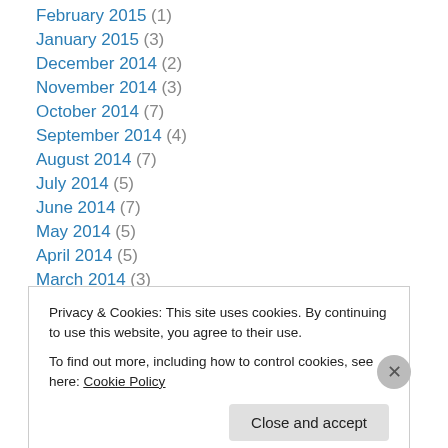February 2015 (1)
January 2015 (3)
December 2014 (2)
November 2014 (3)
October 2014 (7)
September 2014 (4)
August 2014 (7)
July 2014 (5)
June 2014 (7)
May 2014 (5)
April 2014 (5)
March 2014 (3)
January 2014 (2)
Privacy & Cookies: This site uses cookies. By continuing to use this website, you agree to their use.
To find out more, including how to control cookies, see here: Cookie Policy
Close and accept